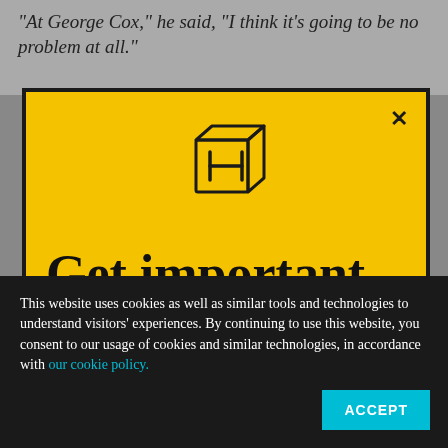“At George Cox,” he said, “I think it’s going to be no problem at all.”
[Figure (logo): Hechinger Report logo: a cube with letter H inside, outline style]
Get important education news and analysis delivered
This website uses cookies as well as similar tools and technologies to understand visitors’ experiences. By continuing to use this website, you consent to our usage of cookies and similar technologies, in accordance with our cookie policy.
ACCEPT